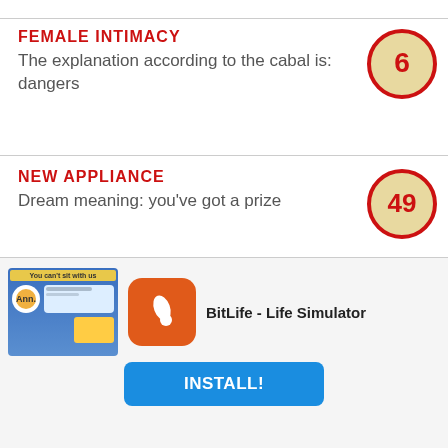FEMALE INTIMACY
The explanation according to the cabal is: dangers
[Figure (other): Badge circle with number 6]
NEW APPLIANCE
Dream meaning: you've got a prize
[Figure (other): Badge circle with number 49]
ELECTRIC APPLIANCE
The meaning of the dream could be: alarm useless
[Figure (other): Badge circle with number 83]
IALE DEAD
[Figure (screenshot): BitLife - Life Simulator advertisement with install button]